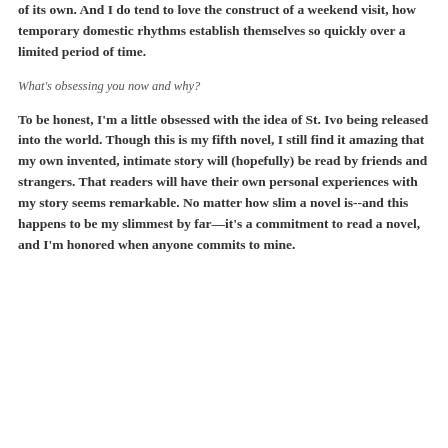of its own. And I do tend to love the construct of a weekend visit, how temporary domestic rhythms establish themselves so quickly over a limited period of time.
What's obsessing you now and why?
To be honest, I'm a little obsessed with the idea of St. Ivo being released into the world. Though this is my fifth novel, I still find it amazing that my own invented, intimate story will (hopefully) be read by friends and strangers. That readers will have their own personal experiences with my story seems remarkable. No matter how slim a novel is--and this happens to be my slimmest by far—it's a commitment to read a novel, and I'm honored when anyone commits to mine.